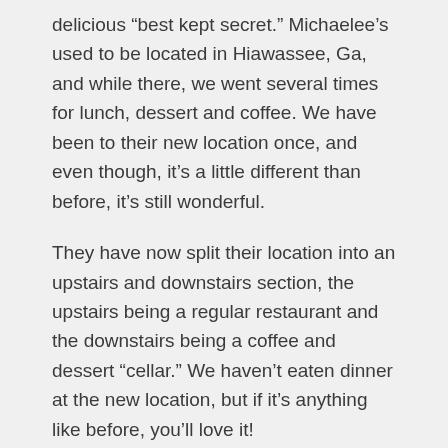delicious “best kept secret.” Michaelee’s used to be located in Hiawassee, Ga, and while there, we went several times for lunch, dessert and coffee. We have been to their new location once, and even though, it’s a little different than before, it’s still wonderful.
They have now split their location into an upstairs and downstairs section, the upstairs being a regular restaurant and the downstairs being a coffee and dessert “cellar.” We haven’t eaten dinner at the new location, but if it’s anything like before, you’ll love it!
The restaurant features a great selection of paninis, pastas and Italian dishes, as well as, italian coffees and desserts.
The Cellar, as the dessert portion is called, has a really